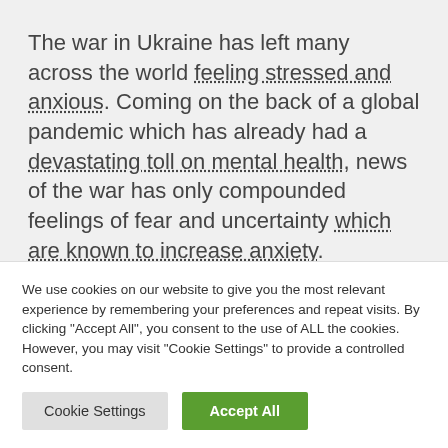The war in Ukraine has left many across the world feeling stressed and anxious. Coming on the back of a global pandemic which has already had a devastating toll on mental health, news of the war has only compounded feelings of fear and uncertainty which are known to increase anxiety.
People far from the conflict may be
We use cookies on our website to give you the most relevant experience by remembering your preferences and repeat visits. By clicking "Accept All", you consent to the use of ALL the cookies. However, you may visit "Cookie Settings" to provide a controlled consent.